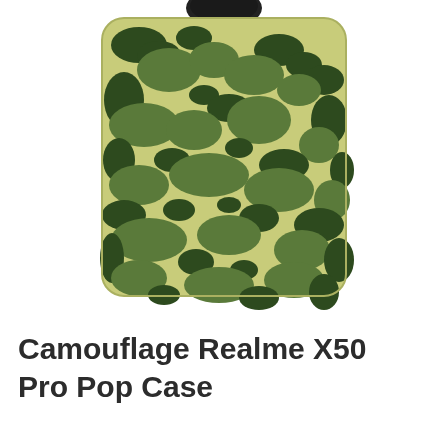[Figure (photo): A camouflage patterned phone case for Realme X50 Pro with a pop socket on top. The case features a classic military camouflage pattern in shades of light olive/yellow-green, medium green, and dark green/black. The case has rounded corners and a circular pop socket attachment at the top center.]
Camouflage Realme X50 Pro Pop Case